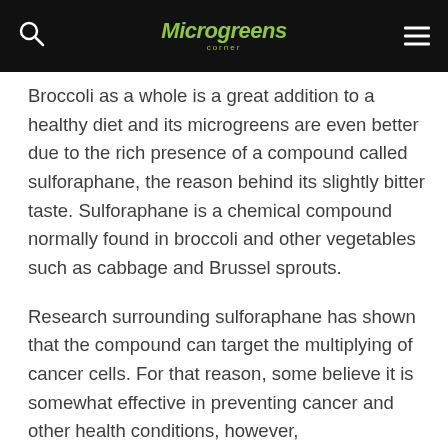Microgreens Corner
Broccoli as a whole is a great addition to a healthy diet and its microgreens are even better due to the rich presence of a compound called sulforaphane, the reason behind its slightly bitter taste. Sulforaphane is a chemical compound normally found in broccoli and other vegetables such as cabbage and Brussel sprouts.
Research surrounding sulforaphane has shown that the compound can target the multiplying of cancer cells. For that reason, some believe it is somewhat effective in preventing cancer and other health conditions, however,